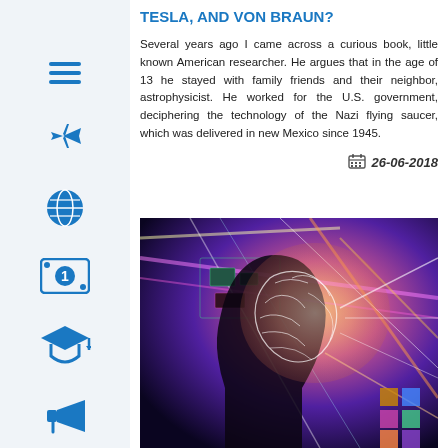TESLA, AND VON BRAUN?
Several years ago I came across a curious book, little known American researcher. He argues that in the age of 13 he stayed with family friends and their neighbor, astrophysicist. He worked for the U.S. government, deciphering the technology of the Nazi flying saucer, which was delivered in new Mexico since 1945.
26-06-2018
[Figure (illustration): Digital illustration of a human head silhouette in profile with a glowing brain visible, surrounded by colorful light streaks and circuit-like patterns in shades of purple, orange, yellow, and pink on a dark background.]